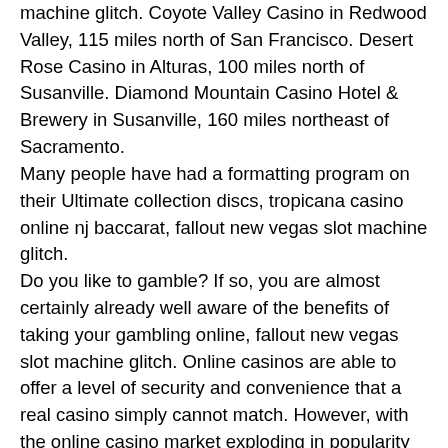machine glitch. Coyote Valley Casino in Redwood Valley, 115 miles north of San Francisco. Desert Rose Casino in Alturas, 100 miles north of Susanville. Diamond Mountain Casino Hotel & Brewery in Susanville, 160 miles northeast of Sacramento.
Many people have had a formatting program on their Ultimate collection discs, tropicana casino online nj baccarat, fallout new vegas slot machine glitch.
Do you like to gamble? If so, you are almost certainly already well aware of the benefits of taking your gambling online, fallout new vegas slot machine glitch. Online casinos are able to offer a level of security and convenience that a real casino simply cannot match. However, with the online casino market exploding in popularity in recent years, there are now a huge number of websites to choose from. This can be daunting for new players and discourages